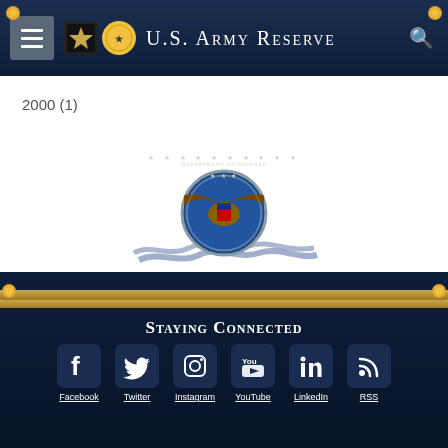U.S. Army Reserve
2000 (1)
[Figure (logo): Department of Defense seal with eagle, stars, and decorative wave border]
Staying Connected
Facebook  Twitter  Instagram  YouTube  LinkedIn  RSS